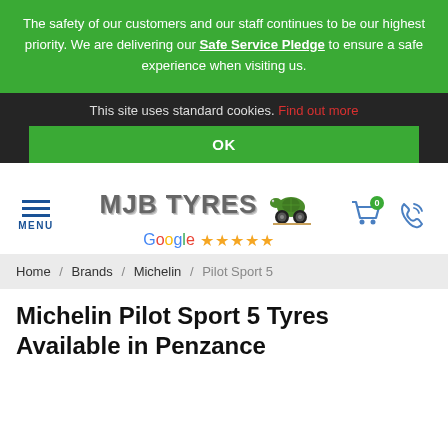The safety of our customers and our staff continues to be our highest priority. We are delivering our Safe Service Pledge to ensure a safe experience when visiting us.
This site uses standard cookies. Find out more
OK
[Figure (logo): MJB Tyres logo with tractor/tyres illustration and Google 5-star rating, plus menu, cart and phone icons]
Home / Brands / Michelin / Pilot Sport 5
Michelin Pilot Sport 5 Tyres Available in Penzance